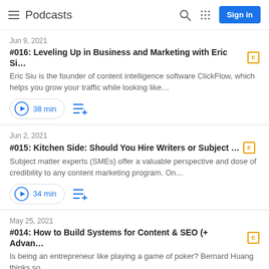Podcasts
Jun 9, 2021
#016: Leveling Up in Business and Marketing with Eric Si… [E]
Eric Siu is the founder of content intelligence software ClickFlow, which helps you grow your traffic while looking like…
38 min
Jun 2, 2021
#015: Kitchen Side: Should You Hire Writers or Subject … [E]
Subject matter experts (SMEs) offer a valuable perspective and dose of credibility to any content marketing program. On…
34 min
May 25, 2021
#014: How to Build Systems for Content & SEO (+ Advan… [E]
Is being an entrepreneur like playing a game of poker? Bernard Huang thinks so.